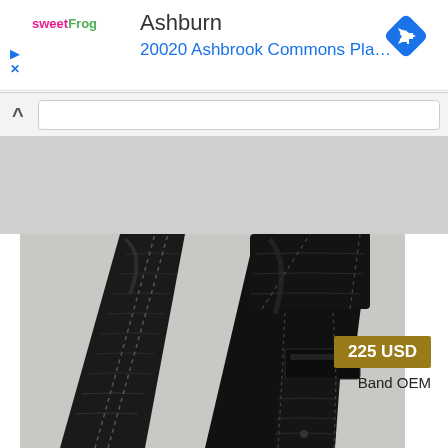sweetFrog  Ashburn
20020 Ashbrook Commons Pla…
[Figure (screenshot): Screenshot of a Google Maps navigation/search bar UI with a chevron-up button and search input field]
[Figure (photo): Photo of two black alligator-pattern leather watch straps on a light gray background]
225 USD
Band OEM